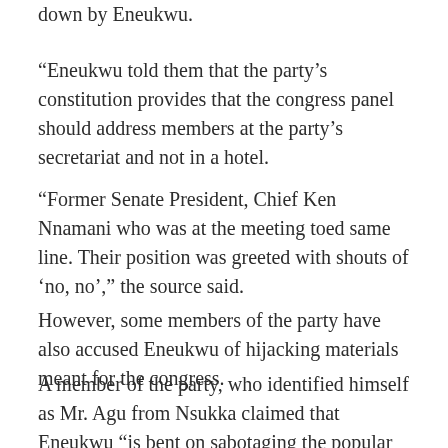down by Eneukwu.
“Eneukwu told them that the party’s constitution provides that the congress panel should address members at the party’s secretariat and not in a hotel.
“Former Senate President, Chief Ken Nnamani who was at the meeting toed same line. Their position was greeted with shouts of ‘no, no’,” the source said.
However, some members of the party have also accused Eneukwu of hijacking materials meant for the congress.
A member of the party, who identified himself as Mr. Agu from Nsukka claimed that Eneukwu “is bent on sabotaging the popular will of party members by